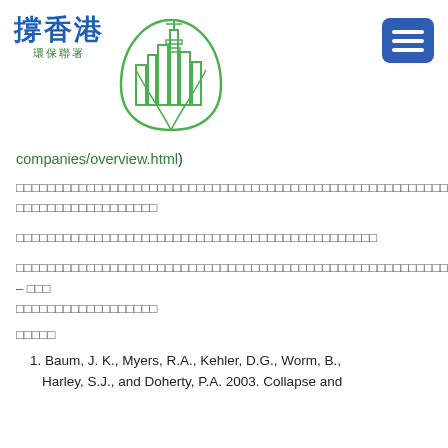[Figure (logo): 撐香港 環保聯署 logo with green city/leaf illustration and blue Chinese text]
companies/overview.html)
（中文characters - body paragraph 1 with Chinese text）
（中文characters - body paragraph 2 with Chinese text）
（中文characters - body paragraph 3 with Chinese text – more Chinese text）
參考文獻
1. Baum, J. K., Myers, R.A., Kehler, D.G., Worm, B., Harley, S.J., and Doherty, P.A. 2003. Collapse and